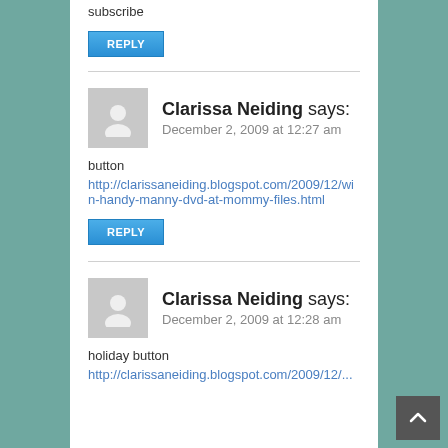subscribe
REPLY
Clarissa Neiding says:
December 2, 2009 at 12:27 am
button
http://clarissaneiding.blogspot.com/2009/12/win-handy-manny-dvd-at-mommy-files.html
REPLY
Clarissa Neiding says:
December 2, 2009 at 12:28 am
holiday button